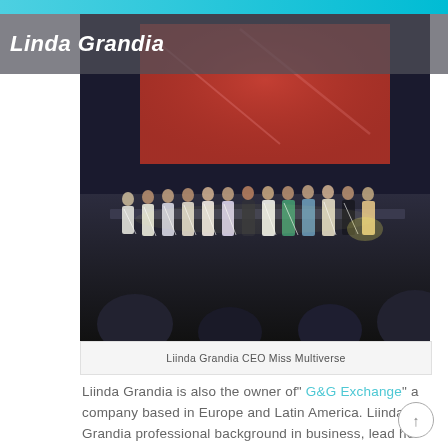Linda Grandia
[Figure (photo): Group of women in formal gowns and sashes standing on a stage with a red LED backdrop, viewed from behind an audience.]
Liinda Grandia CEO Miss Multiverse
Liinda Grandia is also the owner of" G&G Exchange" a company based in Europe and Latin America. Liinda Grandia professional background in business, lead her to pursue her Master's In Business Administration. In which she is actively engaged with the University of Liverpool.